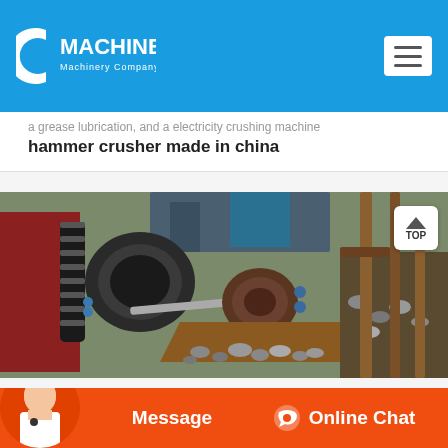MACHINE Machinery Company
hammer crusher made in china
[Figure (photo): Industrial hammer crusher machine in operation, showing crushing rollers and crushed stone/gravel material]
Message | Online Chat